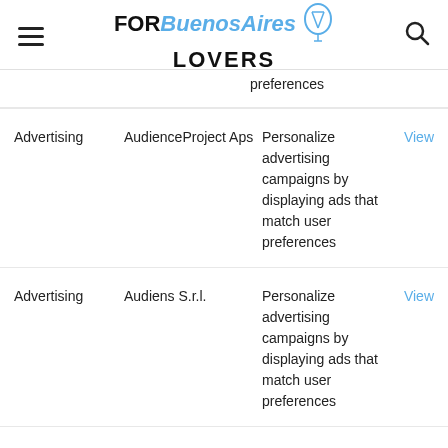FOR Buenos Aires LOVERS
preferences
| Category | Name | Description |  |
| --- | --- | --- | --- |
| Advertising | AudienceProject Aps | Personalize advertising campaigns by displaying ads that match user preferences | View |
| Advertising | Audiens S.r.l. | Personalize advertising campaigns by displaying ads that match user preferences | View |
|  |  | Personalize advertising |  |